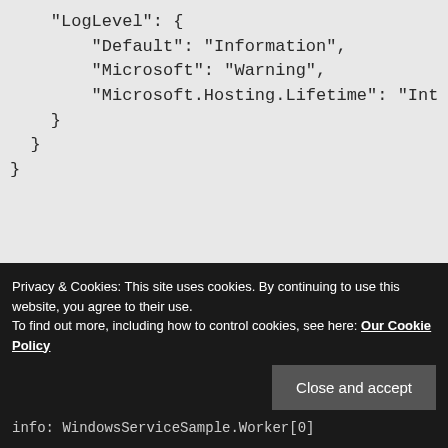"LogLevel": {
    "Default": "Information",
    "Microsoft": "Warning",
    "Microsoft.Hosting.Lifetime": "Int
}
}
}
If the application runs on a Windows syste
Privacy & Cookies: This site uses cookies. By continuing to use this website, you agree to their use.
To find out more, including how to control cookies, see here: Our Cookie Policy
info: WindowsServiceSample.Worker[0]